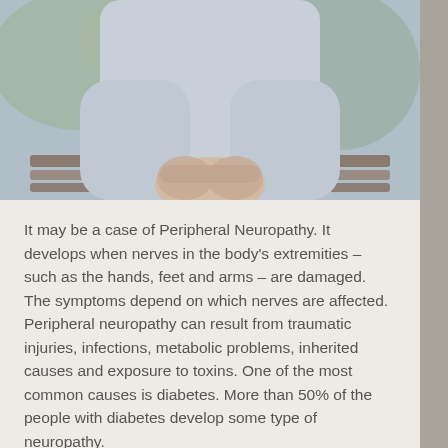[Figure (photo): Photo of a person in a light blue/gray sweater sitting on a bench with hands clasped together, showing wrists and hands, suggesting pain or discomfort associated with peripheral neuropathy.]
It may be a case of Peripheral Neuropathy. It develops when nerves in the body's extremities – such as the hands, feet and arms – are damaged. The symptoms depend on which nerves are affected. Peripheral neuropathy can result from traumatic injuries, infections, metabolic problems, inherited causes and exposure to toxins. One of the most common causes is diabetes. More than 50% of the people with diabetes develop some type of neuropathy.